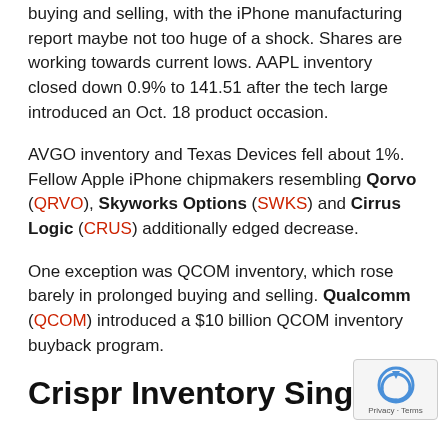buying and selling, with the iPhone manufacturing report maybe not too huge of a shock. Shares are working towards current lows. AAPL inventory closed down 0.9% to 141.51 after the tech large introduced an Oct. 18 product occasion.
AVGO inventory and Texas Devices fell about 1%. Fellow Apple iPhone chipmakers resembling Qorvo (QRVO), Skyworks Options (SWKS) and Cirrus Logic (CRUS) additionally edged decrease.
One exception was QCOM inventory, which rose barely in prolonged buying and selling. Qualcomm (QCOM) introduced a $10 billion QCOM inventory buyback program.
Crispr Inventory Singed